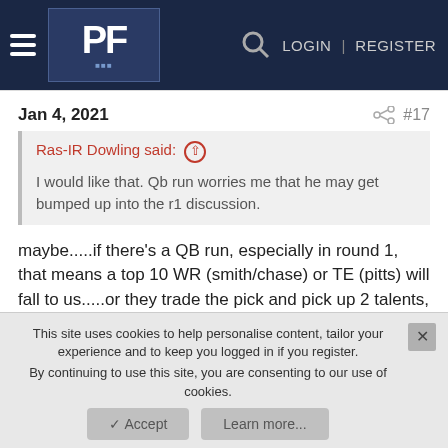PF — LOGIN | REGISTER
Jan 4, 2021  #17
Ras-IR Dowling said: ↑
I would like that. Qb run worries me that he may get bumped up into the r1 discussion.
maybe.....if there's a QB run, especially in round 1, that means a top 10 WR (smith/chase) or TE (pitts) will fall to us.....or they trade the pick and pick up 2 talents, and grab Tanner Morgan or Kellen Mond late, bring in someone who gets jettisoned by a team who drafted in the run. figure out something mediocre while you build the rest of the team (brissett)
This site uses cookies to help personalise content, tailor your experience and to keep you logged in if you register.
By continuing to use this site, you are consenting to our use of cookies.